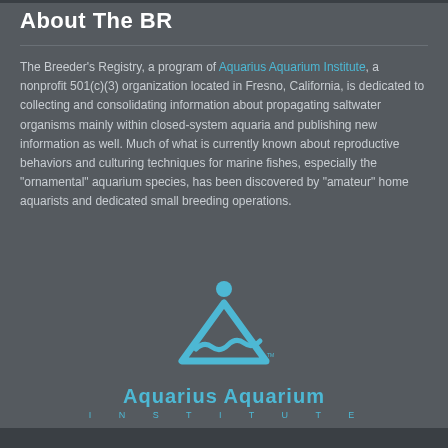About The BR
The Breeder’s Registry, a program of Aquarius Aquarium Institute, a nonprofit 501(c)(3) organization located in Fresno, California, is dedicated to collecting and consolidating information about propagating saltwater organisms mainly within closed-system aquaria and publishing new information as well. Much of what is currently known about reproductive behaviors and culturing techniques for marine fishes, especially the “ornamental” aquarium species, has been discovered by “amateur” home aquarists and dedicated small breeding operations.
[Figure (logo): Aquarius Aquarium Institute logo: a blue triangle/mountain shape with a wave and circle (person) above, with text Aquarius Aquarium and INSTITUTE below]